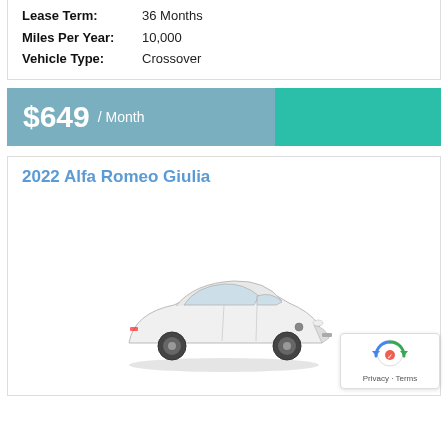| Lease Term: | 36 Months |
| Miles Per Year: | 10,000 |
| Vehicle Type: | Crossover |
$649 / Month
2022 Alfa Romeo Giulia
[Figure (photo): White 2022 Alfa Romeo Giulia sedan, three-quarter front view, with black wheels, on a white background.]